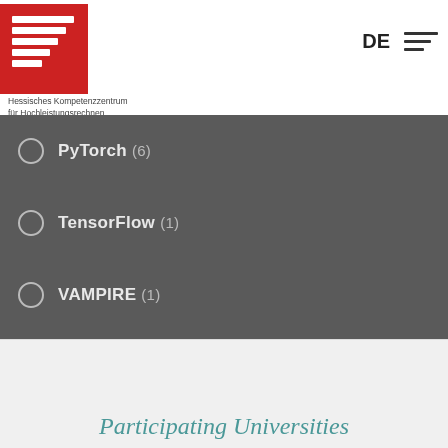Hessisches Kompetenzzentrum für Hochleistungsrechnen | DE
PyTorch (6)
TensorFlow (1)
VAMPIRE (1)
VASP (6)
WIEN2K (1)
UNIVERSITÄT
CLUSTER
Participating Universities